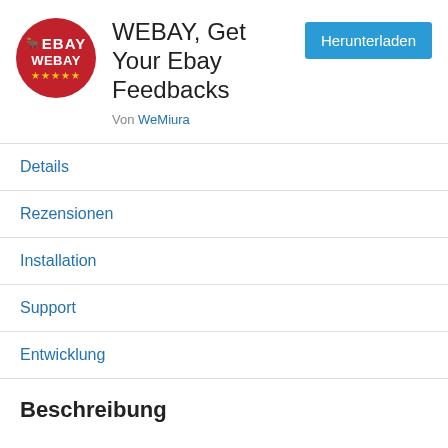[Figure (logo): WEBAY logo: red circle with white WEBAY text and bull horns icon, gold stars below]
WEBAY, Get Your Ebay Feedbacks
Von WeMiura
Herunterladen
Details
Rezensionen
Installation
Support
Entwicklung
Beschreibung